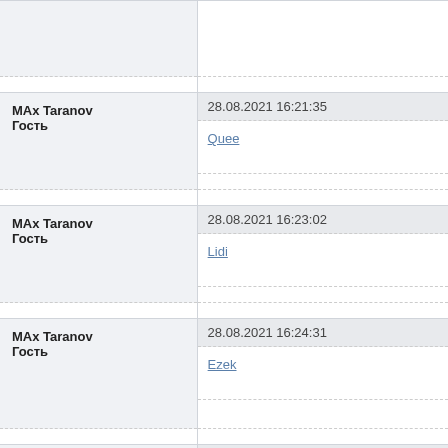| User | Timestamp / Message |
| --- | --- |
| MAx Taranov
Гость | 28.08.2021 16:21:35 | Quee |
| MAx Taranov
Гость | 28.08.2021 16:23:02 | Lidi |
| MAx Taranov
Гость | 28.08.2021 16:24:31 | Ezek |
| MAx Taranov
Гость | 28.08.2021 16:25:58 | ... |